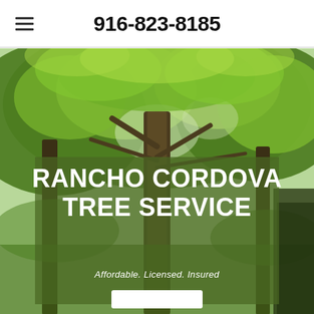916-823-8185
[Figure (photo): Lush green tree canopy photographed from below, showing branches and bright green leaves against a light sky. A large tree trunk is visible in the center.]
RANCHO CORDOVA TREE SERVICE
Affordable. Licensed. Insured